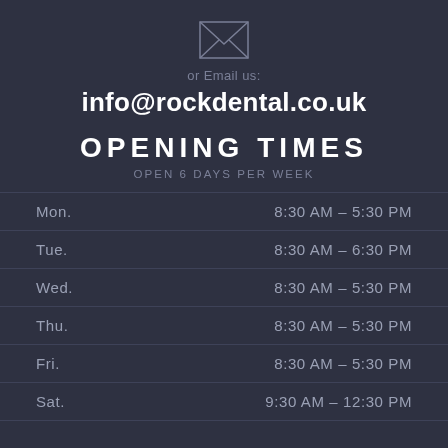[Figure (illustration): Envelope icon outline, minimalist line art in light gray/white on dark background]
or Email us:
info@rockdental.co.uk
OPENING TIMES
OPEN 6 DAYS PER WEEK
| Day | Hours |
| --- | --- |
| Mon. | 8:30 AM – 5:30 PM |
| Tue. | 8:30 AM – 6:30 PM |
| Wed. | 8:30 AM – 5:30 PM |
| Thu. | 8:30 AM – 5:30 PM |
| Fri. | 8:30 AM – 5:30 PM |
| Sat. | 9:30 AM – 12:30 PM |